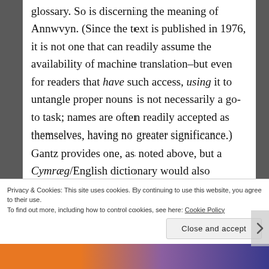glossary. So is discerning the meaning of Annwvyn. (Since the text is published in 1976, it is not one that can readily assume the availability of machine translation–but even for readers that have such access, using it to untangle proper nouns is not necessarily a go-to task; names are often readily accepted as themselves, having no greater significance.) Gantz provides one, as noted above, but a Cymræg/English dictionary would also suffice–and in both cases, the possession and use of such a device denotes a particular kind of reading (and reader) commonly associated with greater education and formal training, thus, however
Privacy & Cookies: This site uses cookies. By continuing to use this website, you agree to their use. To find out more, including how to control cookies, see here: Cookie Policy
Close and accept